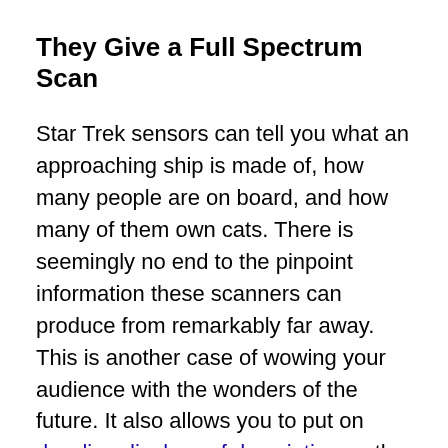They Give a Full Spectrum Scan
Star Trek sensors can tell you what an approaching ship is made of, how many people are on board, and how many of them own cats. There is seemingly no end to the pinpoint information these scanners can produce from remarkably far away. This is another case of wowing your audience with the wonders of the future. It also allows you to put on dazzling displays of description as the characters learn absolutely everything about what they're looking at. Of course, you have to be good at description in order for that to work.
The drawback to having such powerful sensors is